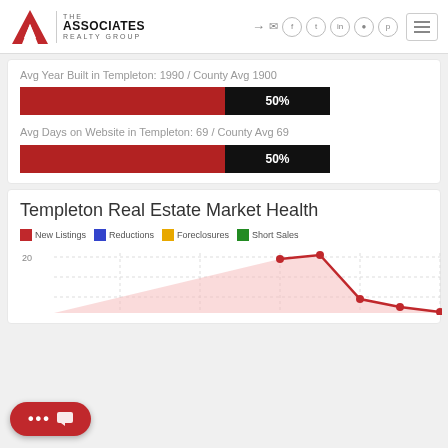The Associates Realty Group
Avg Year Built in Templeton: 1990 / County Avg 1900
[Figure (bar-chart): Avg Year Built]
Avg Days on Website in Templeton: 69 / County Avg 69
[Figure (bar-chart): Avg Days on Website]
Templeton Real Estate Market Health
[Figure (line-chart): Line chart showing New Listings, Reductions, Foreclosures, Short Sales. Y-axis shows value 20 visible. Red line peaks around value 20 then drops.]